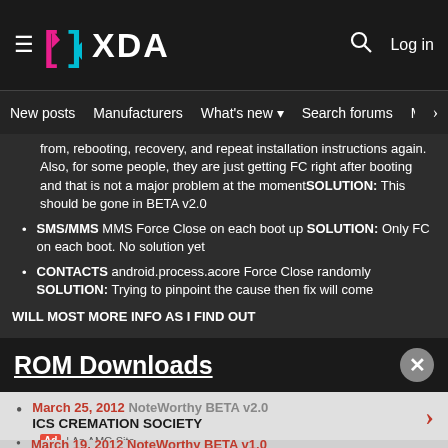XDA — New posts | Manufacturers | What's new | Search forums | Members
from, rebooting, recovery, and repeat installation instructions again. Also, for some people, they are just getting FC right after booting and that is not a major problem at the momentSOLUTION: This should be gone in BETA v2.0
SMS/MMS MMS Force Close on each boot up SOLUTION: Only FC on each boot. No solution yet
CONTACTS android.process.acore Force Close randomly SOLUTION: Trying to pinpoint the cause then fix will come
WILL MOST MORE INFO AS I FIND OUT
ROM Downloads
March 25, 2012 NoteWorthy BETA v2.0
ICS CREMATION SOCIETY
March 19, 2012 NoteWorthy BETA v1.0